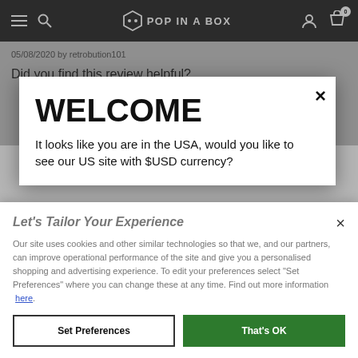Pop In A Box — navigation bar with hamburger menu, search, logo, user icon, cart (0)
05/08/2020 by retrobution101
Did you find this review helpful?
WELCOME
It looks like you are in the USA, would you like to see our US site with $USD currency?
Let's Tailor Your Experience
Our site uses cookies and other similar technologies so that we, and our partners, can improve operational performance of the site and give you a personalised shopping and advertising experience. To edit your preferences select "Set Preferences" where you can change these at any time. Find out more information here.